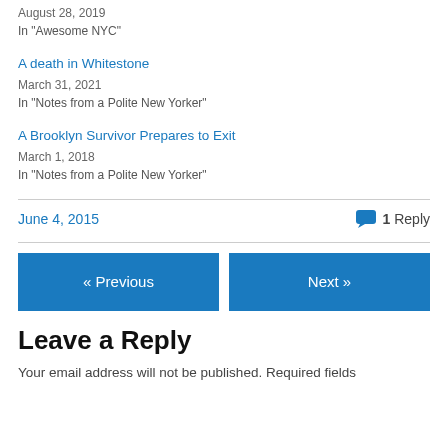August 28, 2019
In "Awesome NYC"
A death in Whitestone
March 31, 2021
In "Notes from a Polite New Yorker"
A Brooklyn Survivor Prepares to Exit
March 1, 2018
In "Notes from a Polite New Yorker"
June 4, 2015
1 Reply
« Previous
Next »
Leave a Reply
Your email address will not be published. Required fields